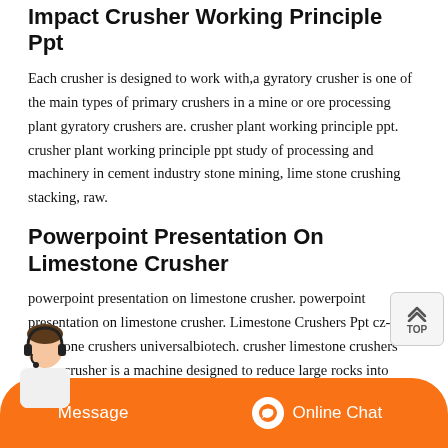Impact Crusher Working Principle Ppt
Each crusher is designed to work with,a gyratory crusher is one of the main types of primary crushers in a mine or ore processing plant gyratory crushers are. crusher plant working principle ppt. crusher plant working principle ppt study of processing and machinery in cement industry stone mining, lime stone crushing stacking, raw.
Powerpoint Presentation On Limestone Crusher
powerpoint presentation on limestone crusher. powerpoint presentation on limestone crusher. Limestone Crushers Ppt cz-eu. limestone crushers universalbiotech. crusher limestone crushers ppt. a crusher is a machine designed to reduce large rocks into smaller rocks,gravel,or rock dust..is limited to soft materials and non .
Used Crushers For Sale Surplus Record
Used Machine Process Design Dual Rotor Crumbler MP Roto Crusher Dyna Breaker, s/n 18662. Machine and Process ... more View Details
Ppt Of Primary Crusher